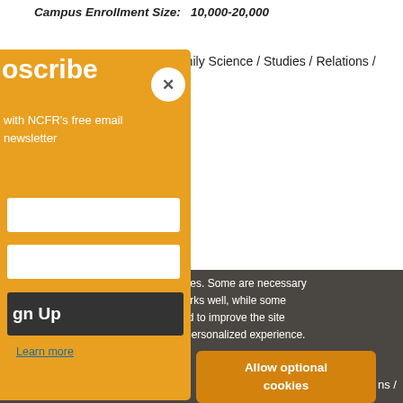Campus Enrollment Size:   10,000-20,000
amily Science / Studies / Relations /
[Figure (screenshot): Yellow subscribe modal overlay partially visible on left side, with close button (X), title 'oscribe', body text 'with NCFR's free email newsletter', two white input fields, and a dark 'gn Up' button]
okies. Some are necessary works well, while some sed to improve the site a personalized experience.
Learn more
Decline
Allow optional cookies
ns /